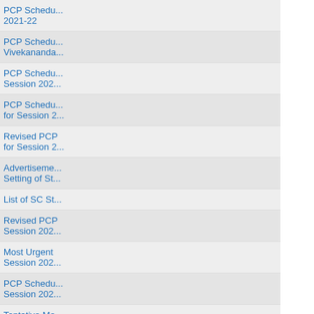| No. | Date | Title |
| --- | --- | --- |
| 439. | 08/11/2021 | PCP Schedule 2021-22 |
| 440. | 03/11/2021 | PCP Schedule Vivekananda... |
| 441. | 03/11/2021 | PCP Schedule Session 202... |
| 442. | 03/11/2021 | PCP Schedule for Session 2... |
| 443. | 03/11/2021 | Revised PCP for Session 2... |
| 444. | 03/11/2021 | Advertisement Setting of St... |
| 445. | 03/11/2021 | List of SC St... |
| 446. | 03/11/2021 | Revised PCP Session 202... |
| 447. | 02/11/2021 | Most Urgent Session 202... |
| 448. | 02/11/2021 | PCP Schedule Session 202... |
| 449. | 01/11/2021 | Tentative Me... Counselling |